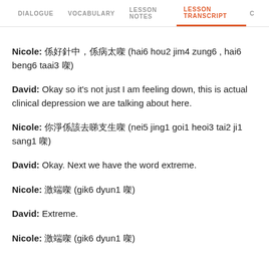DIALOGUE   VOCABULARY   LESSON NOTES   LESSON TRANSCRIPT   C
Nicole: 係好針中，係病太㗎 (hai6 hou2 jim4 zung6 , hai6 beng6 taai3 㗎)
David: Okay so it's not just I am feeling down, this is actual clinical depression we are talking about here.
Nicole: 你淨係該去睇支生㗎 (nei5 jing1 goi1 heoi3 tai2 ji1 sang1 㗎)
David: Okay. Next we have the word extreme.
Nicole: 激端㗎 (gik6 dyun1 㗎)
David: Extreme.
Nicole: 激端㗎 (gik6 dyun1 㗎)